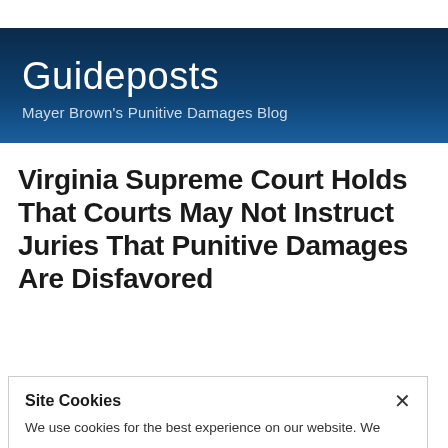Guideposts
Mayer Brown's Punitive Damages Blog
Virginia Supreme Court Holds That Courts May Not Instruct Juries That Punitive Damages Are Disfavored
Site Cookies
We use cookies for the best experience on our website. We